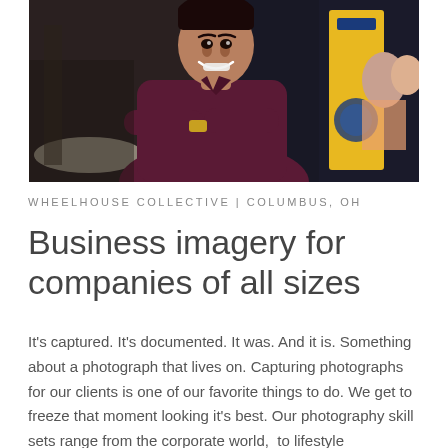[Figure (photo): A smiling young man with arms crossed wearing a dark maroon/purple long-sleeve shirt and a gold watch, standing in what appears to an office or business environment with yellow signage and other people visible in the background.]
WHEELHOUSE COLLECTIVE | COLUMBUS, OH
Business imagery for companies of all sizes
It's captured. It's documented. It was. And it is. Something about a photograph that lives on. Capturing photographs for our clients is one of our favorite things to do. We get to freeze that moment looking it's best. Our photography skill sets range from the corporate world,  to lifestyle